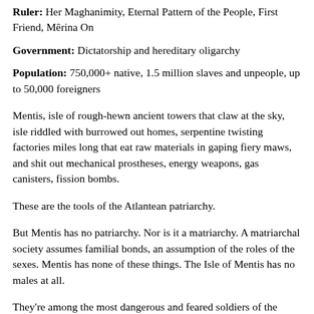Ruler: Her Maghanimity, Eternal Pattern of the People, First Friend, Mêrina On
Government: Dictatorship and hereditary oligarchy
Population: 750,000+ native, 1.5 million slaves and unpeople, up to 50,000 foreigners
Mentis, isle of rough-hewn ancient towers that claw at the sky, isle riddled with burrowed out homes, serpentine twisting factories miles long that eat raw materials in gaping fiery maws, and shit out mechanical prostheses, energy weapons, gas canisters, fission bombs.
These are the tools of the Atlantean patriarchy.
But Mentis has no patriarchy. Nor is it a matriarchy. A matriarchal society assumes familial bonds, an assumption of the roles of the sexes. Mentis has none of these things. The Isle of Mentis has no males at all.
They're among the most dangerous and feared soldiers of the Black Sun. They ride huge, carnivorous sea beasts over the waves. They maintain a fleet of the fastest, most heavily